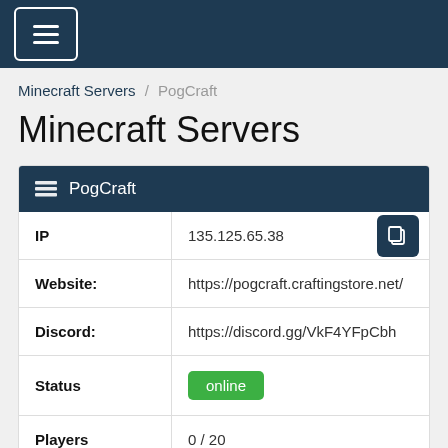≡ (navigation menu)
Minecraft Servers / PogCraft
Minecraft Servers
| Field | Value |
| --- | --- |
| IP | 135.125.65.38 |
| Website: | https://pogcraft.craftingstore.net/ |
| Discord: | https://discord.gg/VkF4YFpCbh |
| Status | online |
| Players | 0 / 20 |